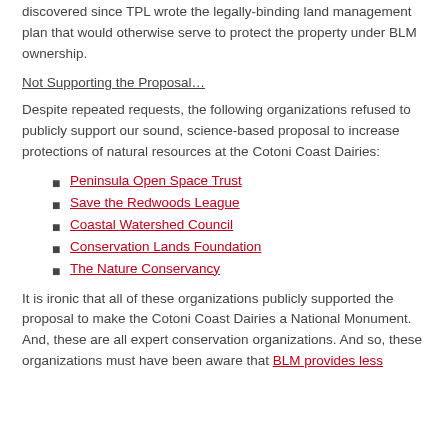discovered since TPL wrote the legally-binding land management plan that would otherwise serve to protect the property under BLM ownership.
Not Supporting the Proposal…
Despite repeated requests, the following organizations refused to publicly support our sound, science-based proposal to increase protections of natural resources at the Cotoni Coast Dairies:
Peninsula Open Space Trust
Save the Redwoods League
Coastal Watershed Council
Conservation Lands Foundation
The Nature Conservancy
It is ironic that all of these organizations publicly supported the proposal to make the Cotoni Coast Dairies a National Monument. And, these are all expert conservation organizations. And so, these organizations must have been aware that BLM provides less